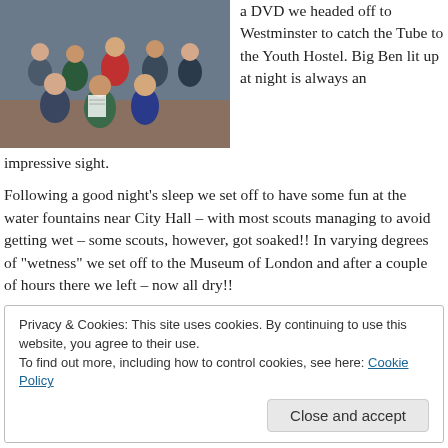[Figure (photo): Group of children and adults (scouts) posing indoors for a photo]
a DVD we headed off to Westminster to catch the Tube to the Youth Hostel. Big Ben lit up at night is always an impressive sight.
Following a good night's sleep we set off to have some fun at the water fountains near City Hall – with most scouts managing to avoid getting wet – some scouts, however, got soaked!! In varying degrees of "wetness" we set off to the Museum of London and after a couple of hours there we left – now all dry!!
Privacy & Cookies: This site uses cookies. By continuing to use this website, you agree to their use.
To find out more, including how to control cookies, see here: Cookie Policy
Close and accept
[Figure (photo): Partial photo at the bottom of the page, appears to be an outdoor scene]
on Flickr – but